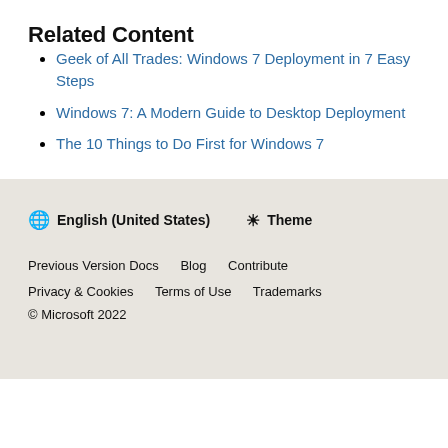Related Content
Geek of All Trades: Windows 7 Deployment in 7 Easy Steps
Windows 7: A Modern Guide to Desktop Deployment
The 10 Things to Do First for Windows 7
🌐 English (United States)  ☀ Theme  Previous Version Docs  Blog  Contribute  Privacy & Cookies  Terms of Use  Trademarks  © Microsoft 2022